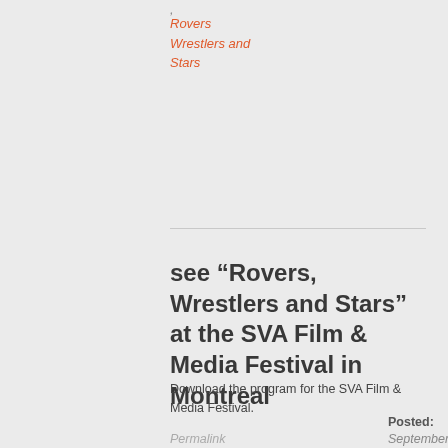, Rovers
Wrestlers and Stars
see “Rovers, Wrestlers and Stars” at the SVA Film & Media Festival in Montreal
Download the program for the SVA Film & Media Festival.
Posted: September 5, 2011
Categories: Blog, News
Permalink
Tags: documentary film , Quonset Auditorium